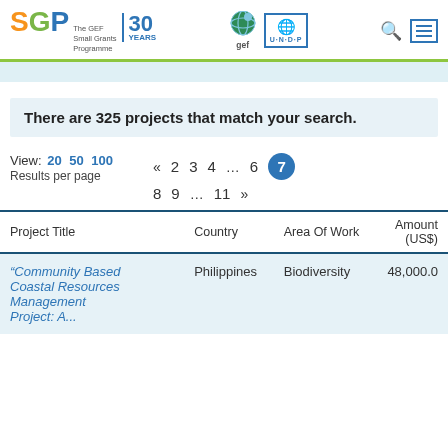SGP The GEF Small Grants Programme 30 YEARS | GEF | UNDP
There are 325 projects that match your search.
View: 20 50 100 Results per page
« 2 3 4 … 6 7 8 9 … 11 »
| Project Title | Country | Area Of Work | Amount (US$) |
| --- | --- | --- | --- |
| "Community Based Coastal Resources Management Project: A... | Philippines | Biodiversity | 48,000.0 |